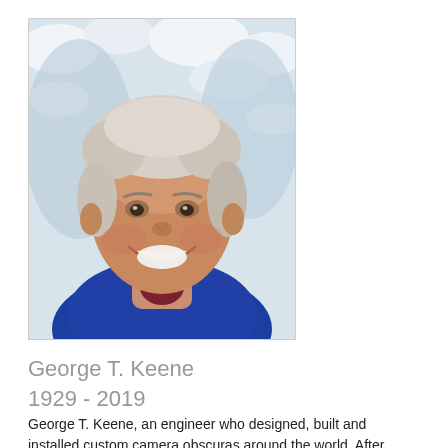[Figure (photo): Portrait photo of George T. Keene, an elderly man with white/grey hair, smiling broadly, wearing a blue fleece jacket and burgundy shirt. Snowy trees visible in the background.]
George T. Keene
1929 - 2019
George T. Keene, an engineer who designed, built and installed custom camera obscuras around the world. After